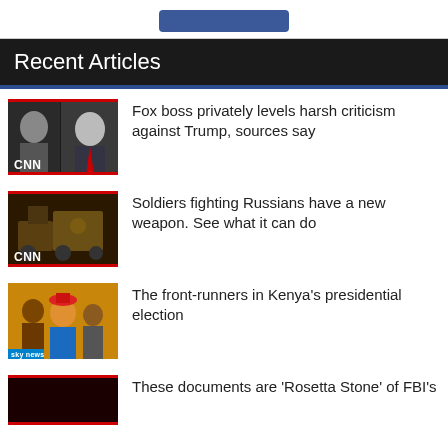[Figure (screenshot): Blue button banner at top of page]
Recent Articles
Fox boss privately levels harsh criticism against Trump, sources say
Soldiers fighting Russians have a new weapon. See what it can do
The front-runners in Kenya's presidential election
These documents are 'Rosetta Stone' of FBI's